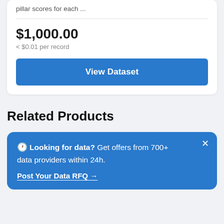pillar scores for each ...
$1,000.00
< $0.01 per record
View Dataset
Related Products
🕐 Looking for data? Get offers from 700+ data providers within 24h.
Post Your Data RFQ →